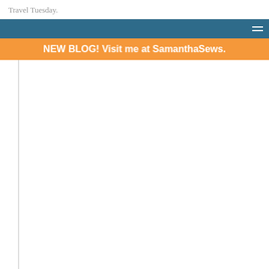Travel Tuesday.
NEW BLOG! Visit me at SamanthaSews.